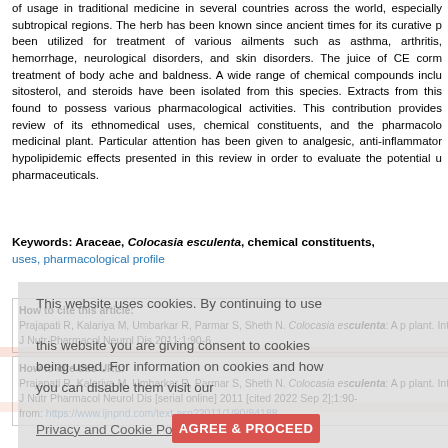of usage in traditional medicine in several countries across the world, especially subtropical regions. The herb has been known since ancient times for its curative properties and has been utilized for treatment of various ailments such as asthma, arthritis, hemorrhage, neurological disorders, and skin disorders. The juice of CE corm is used for treatment of body ache and baldness. A wide range of chemical compounds including alkaloids, sitosterol, and steroids have been isolated from this species. Extracts from this species have been found to possess various pharmacological activities. This contribution provides a comprehensive review of its ethnomedical uses, chemical constituents, and the pharmacological profile of this medicinal plant. Particular attention has been given to analgesic, anti-inflammatory, anti-tumor, and hypolipidemic effects presented in this review in order to evaluate the potential use as pharmaceuticals.
Keywords: Araceae, Colocasia esculenta, chemical constituents, ethnomedical uses, pharmacological profile
This website uses cookies. By continuing to use this website you are giving consent to cookies being used. For information on cookies and how you can disable them visit our Privacy and Cookie Policy.
How to cite this article:
Prajapati R, Kalariya M, Umbarkar R, Parmar S, Sheth N. Colocasia esculenta: A p plant. Int J Nutr Pharmacol Neurol Dis 2011;1:90-6
How to cite this URL:
Prajapati R, Kalariya M, Umbarkar R, Parmar S, Sheth N. Colocasia esculenta: A p plant. Int J Nutr Pharmacol Neurol Dis [serial online] 2011 [cited 2022 Sep 2];1:90- from: https://www.ijnpnd.com/text.asp?2011/1/90/84188